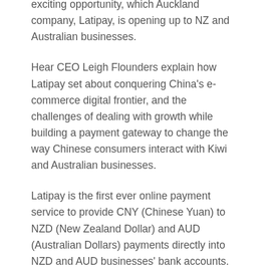exciting opportunity, which Auckland company, Latipay, is opening up to NZ and Australian businesses.
Hear CEO Leigh Flounders explain how Latipay set about conquering China's e-commerce digital frontier, and the challenges of dealing with growth while building a payment gateway to change the way Chinese consumers interact with Kiwi and Australian businesses.
Latipay is the first ever online payment service to provide CNY (Chinese Yuan) to NZD (New Zealand Dollar) and AUD (Australian Dollars) payments directly into NZD and AUD businesses' bank accounts. In 2016 it was recognised as Tech Start Up Of The Year in the Australia/New Zealand